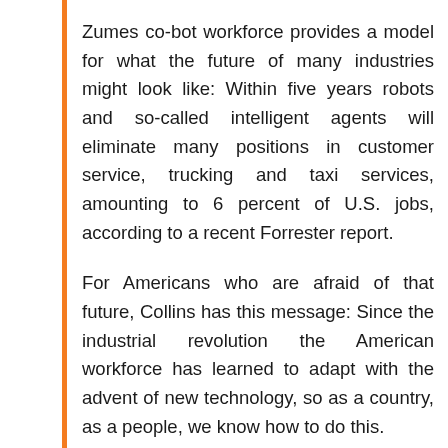Zumes co-bot workforce provides a model for what the future of many industries might look like: Within five years robots and so-called intelligent agents will eliminate many positions in customer service, trucking and taxi services, amounting to 6 percent of U.S. jobs, according to a recent Forrester report.
For Americans who are afraid of that future, Collins has this message: Since the industrial revolution the American workforce has learned to adapt with the advent of new technology, so as a country, as a people, we know how to do this.
Within Zumes kitchen, it is the highly repetitive tasks that have been automated first. For example, there are three bots for squirting and spreading tomato sauce on pies, and a bot similar to ones used on a car assembly line to